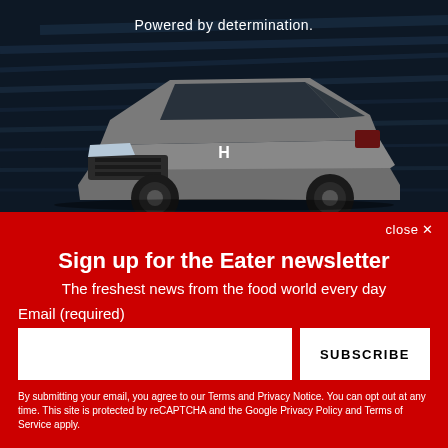[Figure (photo): Honda CR-V SUV advertisement. Dark background with motion blur lines. Text reads 'Powered by determination.' A gray Honda SUV is shown in the center of the image.]
close ✕
Sign up for the Eater newsletter
The freshest news from the food world every day
Email (required)
SUBSCRIBE
By submitting your email, you agree to our Terms and Privacy Notice. You can opt out at any time. This site is protected by reCAPTCHA and the Google Privacy Policy and Terms of Service apply.